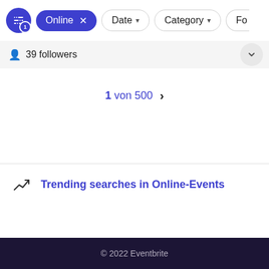[Figure (screenshot): Filter bar with sliders icon button (badge=1), 'Online x' active pill, 'Date' dropdown pill, 'Category' dropdown pill, partially visible 'Fo...' pill]
39 followers
1 von 500 >
Trending searches in Online-Events
© 2022 Eventbrite